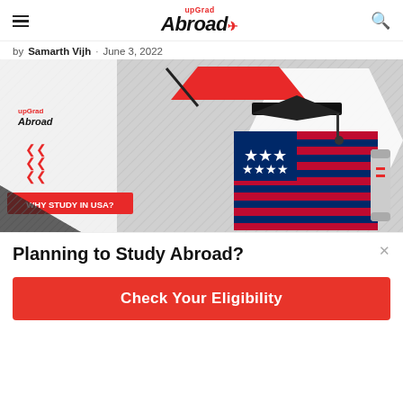upGrad Abroad
by Samarth Vijh · June 3, 2022
[Figure (illustration): upGrad Abroad branded image showing a 3D USA map with American flag pattern, wearing a graduation cap, with a diploma scroll beside it. On the left side: upGrad Abroad logo, red chevron arrows, and a red banner reading WHY STUDY IN USA?. Background features a white hexagon on grey hatched pattern.]
Planning to Study Abroad?
Check Your Eligibility